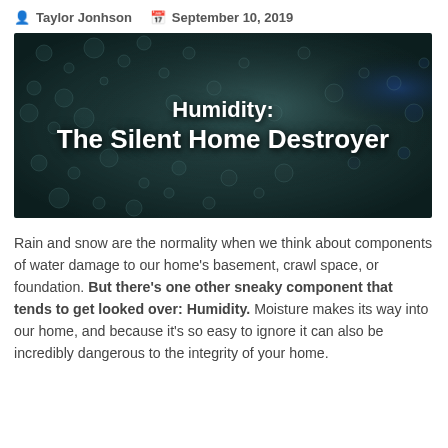Taylor Jonhson   September 10, 2019
[Figure (photo): Close-up photo of condensation water droplets on a dark surface, with overlaid white bold text reading 'Humidity: The Silent Home Destroyer']
Rain and snow are the normality when we think about components of water damage to our home's basement, crawl space, or foundation. But there's one other sneaky component that tends to get looked over: Humidity. Moisture makes its way into our home, and because it's so easy to ignore it can also be incredibly dangerous to the integrity of your home.